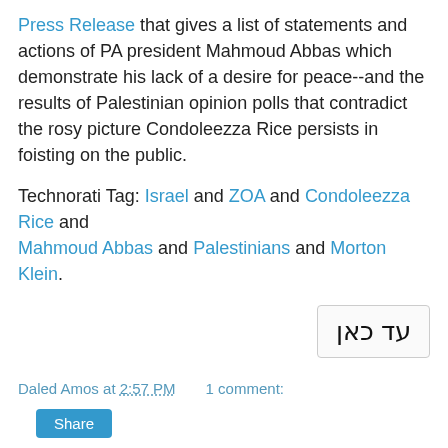Press Release that gives a list of statements and actions of PA president Mahmoud Abbas which demonstrate his lack of a desire for peace--and the results of Palestinian opinion polls that contradict the rosy picture Condoleezza Rice persists in foisting on the public.
Technorati Tag: Israel and ZOA and Condoleezza Rice and Mahmoud Abbas and Palestinians and Morton Klein.
עד כאן
Daled Amos at 2:57 PM   1 comment:
Share
WHY COME LIVE IN ISRAEL: The following is a Letter to the Editor published in The Jewish Observer about 2 years ago, written by Rabbi Chaim Malinowitz, the Rav of Congregation Beis Tefilloh in Ramat Beit Shemesh. It appeared in